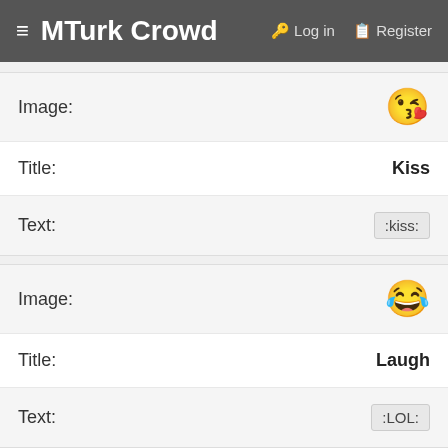≡ MTurk Crowd  🔑 Log in  🔖 Register
| Field | Value |
| --- | --- |
| Image: | 😗 (kiss emoji) |
| Title: | Kiss |
| Text: | :kiss: |
| Image: | 😂 (laugh emoji) |
| Title: | Laugh |
| Text: | :LOL: |
| Image: | (up/down buttons) |